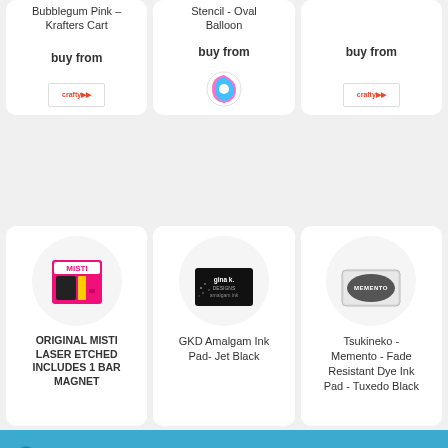Bubblegum Pink – Krafters Cart
buy from
Stencil - Oval Balloon
buy from
buy from
[Figure (photo): MISTI laser etched stamping tool product image with pink packaging]
ORIGINAL MISTI LASER ETCHED INCLUDES 1 BAR MAGNET
[Figure (photo): GKD Amalgam Ink Pad Jet Black product image on black card background]
GKD Amalgam Ink Pad- Jet Black
[Figure (photo): Tsukineko Memento Fade Resistant Dye Ink Pad in light grey packaging with oval logo]
Tsukineko - Memento - Fade Resistant Dye Ink Pad - Tuxedo Black
Shop here for handmade cards for all occasions using quality cardstocks, inks, stamps and dies.
Dismiss
[Figure (photo): Black ink pad product image]
[Figure (photo): Colorful ink pad product image]
[Figure (photo): Bottle of glue or adhesive product image]